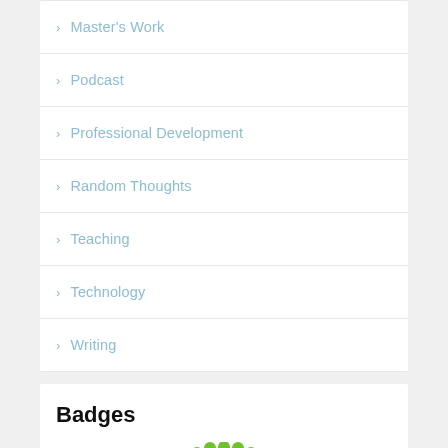Master's Work
Podcast
Professional Development
Random Thoughts
Teaching
Technology
Writing
Badges
[Figure (illustration): Partial view of a circular badge with green scalloped border and purple center]